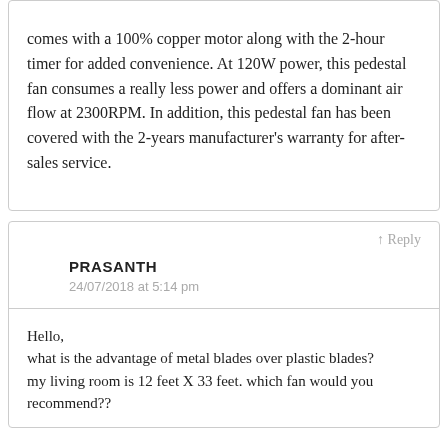comes with a 100% copper motor along with the 2-hour timer for added convenience. At 120W power, this pedestal fan consumes a really less power and offers a dominant air flow at 2300RPM. In addition, this pedestal fan has been covered with the 2-years manufacturer's warranty for after-sales service.
↑ Reply
PRASANTH
24/07/2018 at 5:14 pm
Hello,
what is the advantage of metal blades over plastic blades?
my living room is 12 feet X 33 feet. which fan would you recommend??